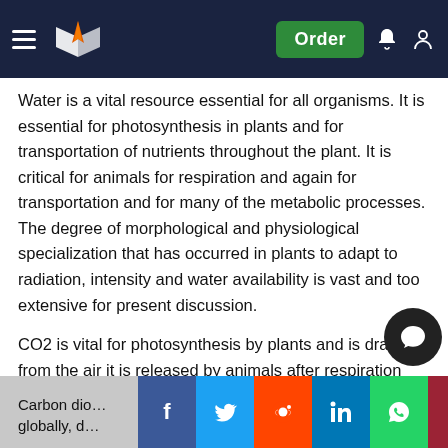Navigation bar with logo and Order button
Water is a vital resource essential for all organisms. It is essential for photosynthesis in plants and for transportation of nutrients throughout the plant. It is critical for animals for respiration and again for transportation and for many of the metabolic processes. The degree of morphological and physiological specialization that has occurred in plants to adapt to radiation, intensity and water availability is vast and too extensive for present discussion.
CO2 is vital for photosynthesis by plants and is drawn from the air it is released by animals after respiration and by plants at night. Levels in a terrestrial environment vary greatly (Begon et al. 2006) and so organisms have developed different ways to enhance its utilization.
Carbon dio… creasing globally, d… ning of